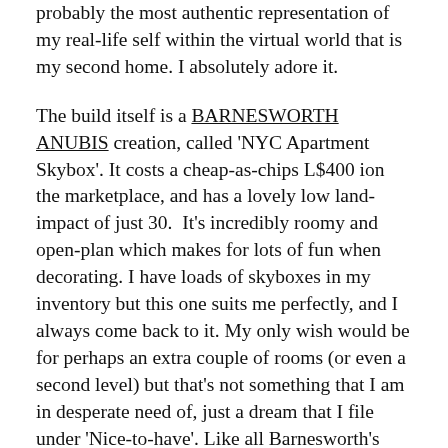probably the most authentic representation of my real-life self within the virtual world that is my second home. I absolutely adore it.
The build itself is a BARNESWORTH ANUBIS creation, called 'NYC Apartment Skybox'. It costs a cheap-as-chips L$400 ion the marketplace, and has a lovely low land-impact of just 30.  It's incredibly roomy and open-plan which makes for lots of fun when decorating. I have loads of skyboxes in my inventory but this one suits me perfectly, and I always come back to it. My only wish would be for perhaps an extra couple of rooms (or even a second level) but that's not something that I am in desperate need of, just a dream that I file under 'Nice-to-have'. Like all Barnesworth's builds,  it's beautifully textured and the details are absolutely perfect. Oh, and because it's a New York City apartment the view out of the windows is of the great city itself a place I will visit